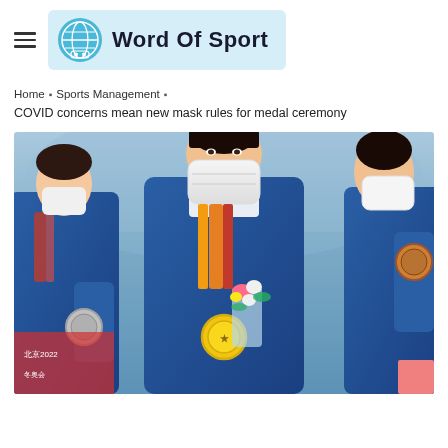Word Of Sport
Home » Sports Management »
COVID concerns mean new mask rules for medal ceremony
[Figure (photo): Olympic medal ceremony photo showing athletes wearing masks and holding medals and flowers, with a blue background. Center athlete is wearing a white mask, blue jacket, and holding a gold medal and bouquet of flowers.]